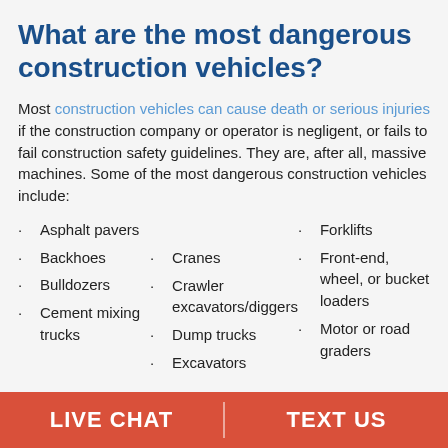What are the most dangerous construction vehicles?
Most construction vehicles can cause death or serious injuries if the construction company or operator is negligent, or fails to fail construction safety guidelines. They are, after all, massive machines. Some of the most dangerous construction vehicles include:
Asphalt pavers
Backhoes
Bulldozers
Cement mixing trucks
Cranes
Crawler excavators/diggers
Dump trucks
Excavators
Forklifts
Front-end, wheel, or bucket loaders
Motor or road graders
LIVE CHAT | TEXT US